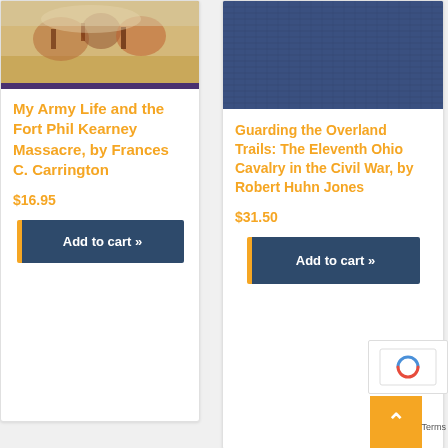[Figure (photo): Book cover image for 'My Army Life and the Fort Phil Kearney Massacre' showing a battle scene painting]
My Army Life and the Fort Phil Kearney Massacre, by Frances C. Carrington
$16.95
Add to cart »
[Figure (photo): Book cover image for 'Guarding the Overland Trails: The Eleventh Ohio Cavalry in the Civil War' showing a dark blue cloth/linen cover]
Guarding the Overland Trails: The Eleventh Ohio Cavalry in the Civil War, by Robert Huhn Jones
$31.50
Add to cart »